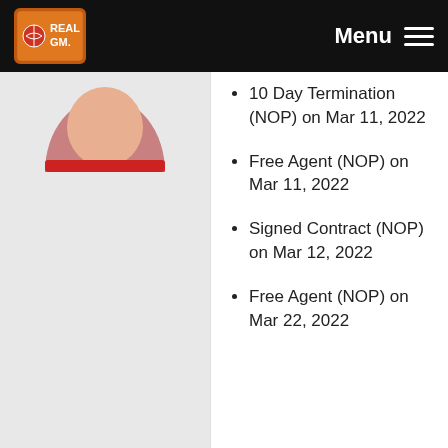RealGM - Menu
10 Day Termination (NOP) on Mar 11, 2022
Free Agent (NOP) on Mar 11, 2022
Signed Contract (NOP) on Mar 12, 2022
Free Agent (NOP) on Mar 22, 2022
Matt Thomas
Free Agent (CHI) on Jul 1, 2022
Free Agent
[Figure (photo): Headshot photo of Matt Thomas in a red Chicago Bulls jersey]
Have you recently seen a digital ad from Matrix Brass Off?
Yes
No